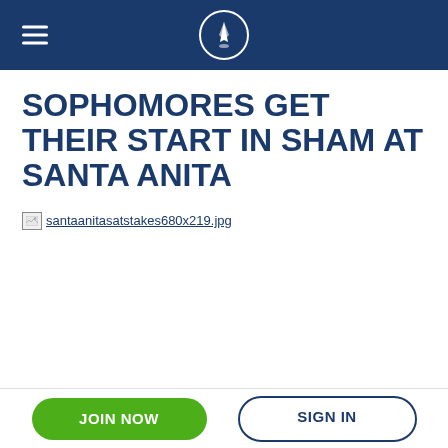Navigation bar with hamburger menu and logo
SOPHOMORES GET THEIR START IN SHAM AT SANTA ANITA
[Figure (photo): Broken image placeholder: santaanitasatstakes680x219.jpg]
SOPHOMORES GET THEIR START IN SHAM AT SANTA ANITA
Some of the top three-year-old prospects out west will try to